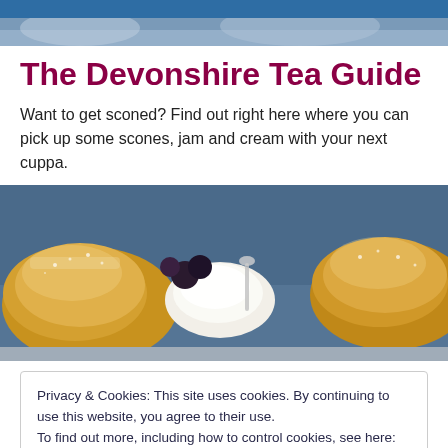[Figure (photo): Partial top strip showing blurred background scene, blue-gray tones]
The Devonshire Tea Guide
Want to get sconed? Find out right here where you can pick up some scones, jam and cream with your next cuppa.
[Figure (photo): Close-up photo of golden scones dusted with icing sugar, with a dollop of cream in the middle and dark berries in background]
Privacy & Cookies: This site uses cookies. By continuing to use this website, you agree to their use.
To find out more, including how to control cookies, see here: Cookie Policy

Close and accept
[Figure (photo): Bottom strip photo showing dark tea cups or tableware]